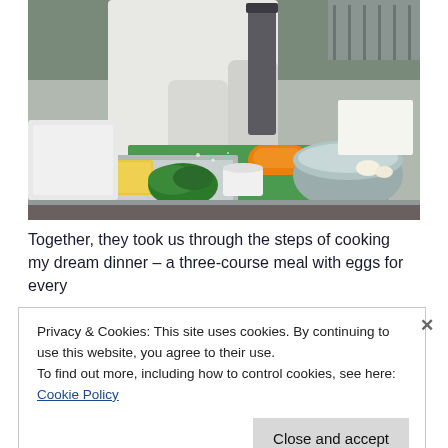[Figure (photo): A chef in a white uniform grating carrots onto a green cutting board in a professional kitchen. Ingredients including herbs, cheese, and a mixing bowl are visible on the stainless steel counter.]
Together, they took us through the steps of cooking my dream dinner – a three-course meal with eggs for every
Privacy & Cookies: This site uses cookies. By continuing to use this website, you agree to their use.
To find out more, including how to control cookies, see here: Cookie Policy
Close and accept